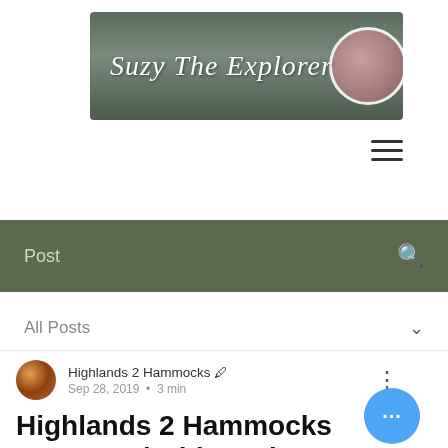[Figure (screenshot): Blog banner image with text 'Suzy The Explorer' in cursive white font over a stone ruins landscape, with circular profile photo of a woman on the right]
[Figure (infographic): Hamburger menu icon (three horizontal lines) in top right area]
Post
All Posts
Highlands 2 Hammocks  Sep 28, 2019  •  3 min
Highlands 2 Hammocks - Top 4 Priorities When Picking a Hostel